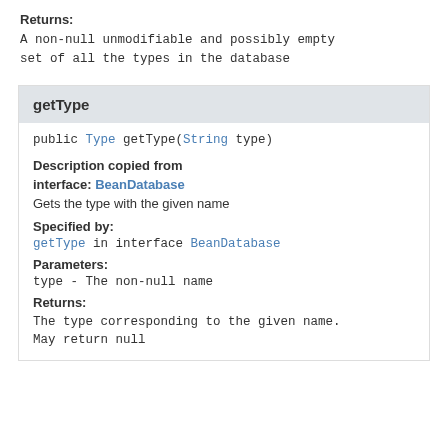Returns:
A non-null unmodifiable and possibly empty set of all the types in the database
getType
public Type getType(String type)
Description copied from interface: BeanDatabase
Gets the type with the given name
Specified by:
getType in interface BeanDatabase
Parameters:
type - The non-null name
Returns:
The type corresponding to the given name. May return null